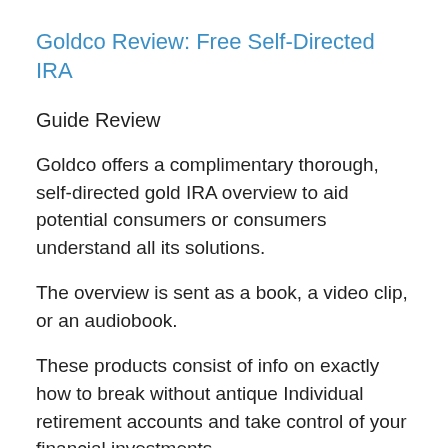Goldco Review: Free Self-Directed IRA
Guide Review
Goldco offers a complimentary thorough, self-directed gold IRA overview to aid potential consumers or consumers understand all its solutions.
The overview is sent as a book, a video clip, or an audiobook.
These products consist of info on exactly how to break without antique Individual retirement accounts and take control of your financial investments.